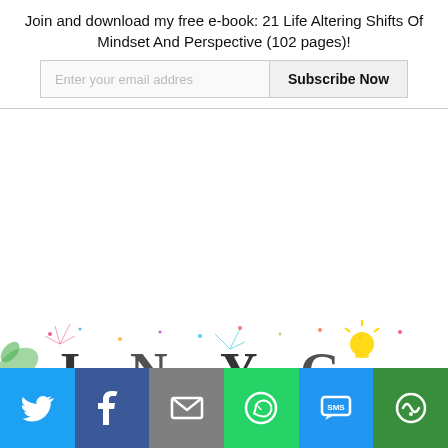Join and download my free e-book: 21 Life Altering Shifts Of Mindset And Perspective (102 pages)!
[Figure (screenshot): Email subscription form with text input 'Enter your email addres' and 'Subscribe Now' button]
[Figure (illustration): Decorative banner with colorful floral/dandelion design and large stylized text logo letters, partially visible]
[Figure (infographic): Social sharing bar with Twitter, Facebook, Email, WhatsApp, SMS, and More buttons]